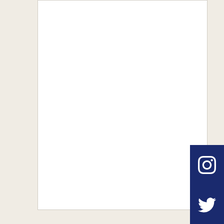[Figure (screenshot): White textarea input box for a contact/comment form]
Send
[Figure (other): Dark navy blue social media sidebar with Instagram, Twitter, and Facebook icons]
Categories
Architecture (3)
Contests (1)